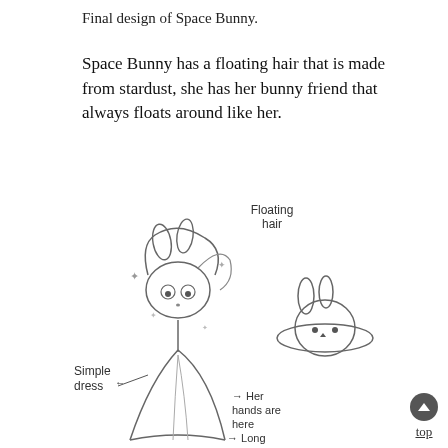Final design of Space Bunny.
Space Bunny has a floating hair that is made from stardust, she has her bunny friend that always floats around like her.
[Figure (illustration): Hand-drawn sketch of Space Bunny character: a girl with large floating hair wearing a simple cape-like dress. Annotations include 'Floating hair', 'Simple dress', '→ Her hands are here', '→ Long'. A small bunny face on a planet-ring shape floats to her right.]
top